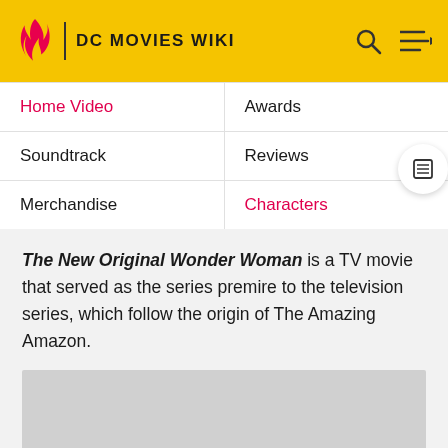DC MOVIES WIKI
| Home Video | Awards |
| Soundtrack | Reviews |
| Merchandise | Characters |
The New Original Wonder Woman is a TV movie that served as the series premire to the television series, which follow the origin of The Amazing Amazon.
[Figure (photo): Gray placeholder image for the movie]